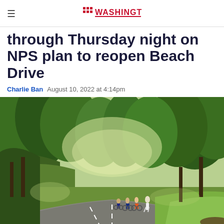WASHINGTON
through Thursday night on NPS plan to reopen Beach Drive
Charlie Ban  August 10, 2022 at 4:14pm
[Figure (photo): Cyclists and a runner on Beach Drive, a tree-lined road in Rock Creek Park with green grass and summer foliage]